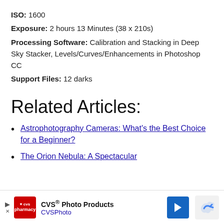ISO: 1600
Exposure: 2 hours 13 Minutes (38 x 210s)
Processing Software: Calibration and Stacking in Deep Sky Stacker, Levels/Curves/Enhancements in Photoshop CC
Support Files: 12 darks
Related Articles:
Astrophotography Cameras: What's the Best Choice for a Beginner?
The Orion Nebula: A Spectacular
[Figure (other): CVS Photo Products advertisement banner at bottom of page]